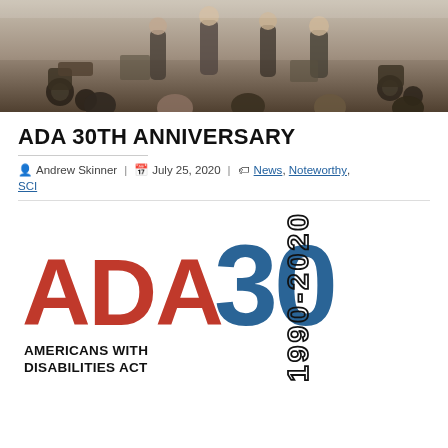[Figure (photo): Outdoor scene showing people in wheelchairs and standing individuals viewed from behind, appears to be a public event or gathering]
ADA 30TH ANNIVERSARY
Andrew Skinner | July 25, 2020 | News, Noteworthy, SCI
[Figure (logo): ADA 30th Anniversary logo: 'ADA' in red, '30' in large blue numerals, '1990-2020' vertically in black outline font, 'AMERICANS WITH DISABILITIES ACT' in black below]